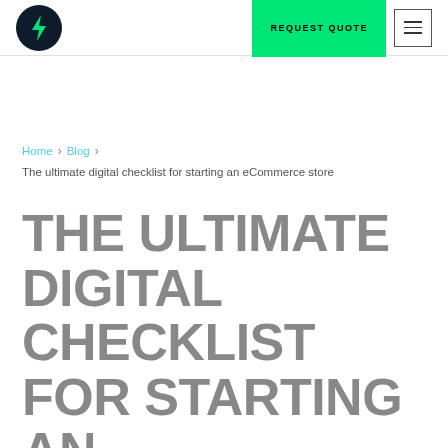Logo | REQUEST QUOTE | Menu
Home > Blog > The ultimate digital checklist for starting an eCommerce store
THE ULTIMATE DIGITAL CHECKLIST FOR STARTING AN ECOMMERCE STORE